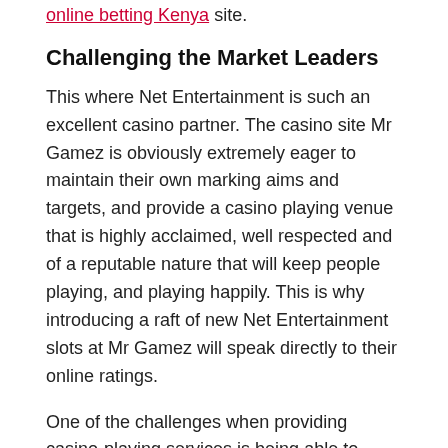online betting Kenya site.
Challenging the Market Leaders
This where Net Entertainment is such an excellent casino partner. The casino site Mr Gamez is obviously extremely eager to maintain their own marking aims and targets, and provide a casino playing venue that is highly acclaimed, well respected and of a reputable nature that will keep people playing, and playing happily. This is why introducing a raft of new Net Entertainment slots at Mr Gamez will speak directly to their online ratings.
One of the challenges when providing casino-playing services is being able to keep up with the Joneses. In this case, keeping up with the Joneses means retaining a growing catalogue of slots games like the Microgaming